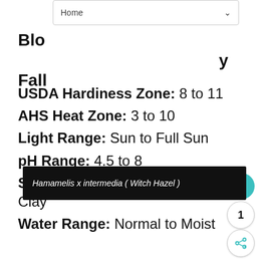Home
Blo... ...y Fall
USDA Hardiness Zone: 8 to 11
AHS Heat Zone: 3 to 10
Light Range: Sun to Full Sun
pH Range: 4.5 to 8
Soil Range: Sandy Loam to Some Clay
Water Range: Normal to Moist
Hamamelis x intermedia ( Witch Hazel )